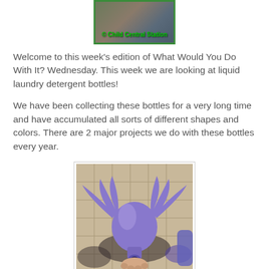[Figure (logo): Child Central Station logo with green border and overlaid green text]
Welcome to this week's edition of What Would You Do With It? Wednesday. This week we are looking at liquid laundry detergent bottles!
We have been collecting these bottles for a very long time and have accumulated all sorts of different shapes and colors. There are 2 major projects we do with these bottles every year.
[Figure (photo): A purple laundry detergent bottle cut and shaped to resemble a bird with wings, held by a hand, against a tiled floor background]